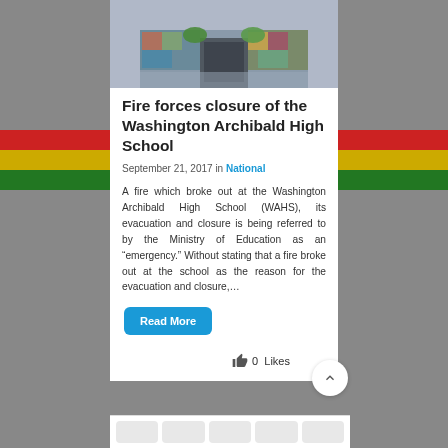[Figure (photo): Exterior photo of Washington Archibald High School entrance with a mural, taken on a rainy day]
Fire forces closure of the Washington Archibald High School
September 21, 2017 in National
A fire which broke out at the Washington Archibald High School (WAHS), its evacuation and closure is being referred to by the Ministry of Education as an “emergency.” Without stating that a fire broke out at the school as the reason for the evacuation and closure,...
Read More
0  Likes